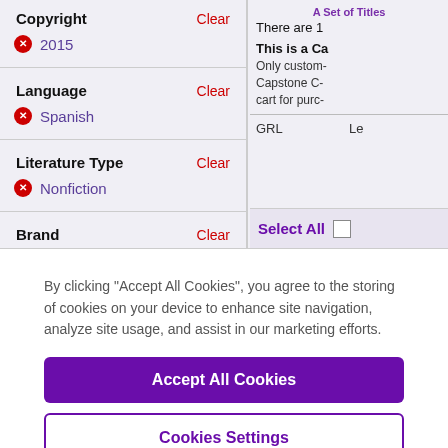Copyright | Clear
✕ 2015
Language | Clear
✕ Spanish
Literature Type | Clear
✕ Nonfiction
Brand | Clear
A Set of Titles
There are 1
This is a Ca-
Only custom- Capstone C- cart for purc-
GRL | Le
Select All
By clicking "Accept All Cookies", you agree to the storing of cookies on your device to enhance site navigation, analyze site usage, and assist in our marketing efforts.
Accept All Cookies
Cookies Settings